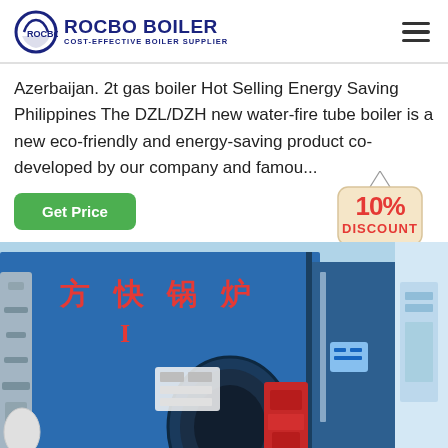ROCBO BOILER - COST-EFFECTIVE BOILER SUPPLIER
Azerbaijan. 2t gas boiler Hot Selling Energy Saving Philippines The DZL/DZH new water-fire tube boiler is a new eco-friendly and energy-saving product co-developed by our company and famou…
[Figure (other): Green 'Get Price' button and 10% Discount badge]
[Figure (photo): Large blue industrial gas boiler with Chinese characters (方快锅炉) in red on the front, pipes on the left, red burner equipment at the base, installed in a factory/plant setting]